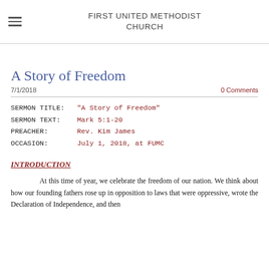FIRST UNITED METHODIST CHURCH
A Story of Freedom
7/1/2018
0 Comments
SERMON TITLE:   "A Story of Freedom"
SERMON TEXT:    Mark 5:1-20
PREACHER:       Rev. Kim James
OCCASION:       July 1, 2018, at FUMC
INTRODUCTION
At this time of year, we celebrate the freedom of our nation. We think about how our founding fathers rose up in opposition to laws that were oppressive, wrote the Declaration of Independence, and then